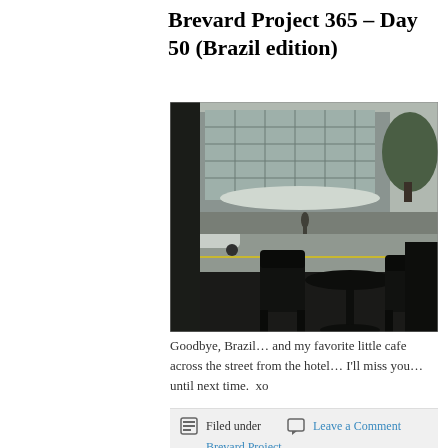Brevard Project 365 – Day 50 (Brazil edition)
[Figure (photo): Black and white photograph taken from inside a cafe looking out to a street. Dark silhouettes of chairs and a round table are in the foreground. Across the street is a modern glass building, with a car visible on the road and trees on the right.]
Goodbye, Brazil… and my favorite little cafe across the street from the hotel… I'll miss you… until next time.  xo
Filed under
Leave a Comment
Brevard Project